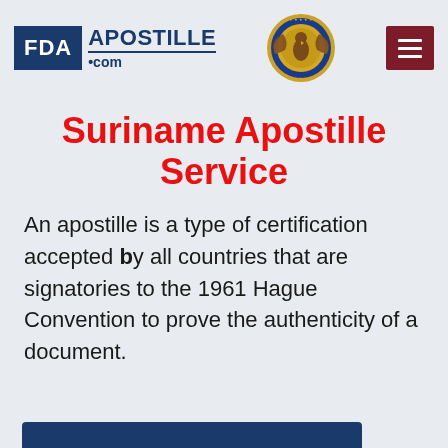[Figure (logo): FDA Apostille .com logo with blue FDA box and text]
[Figure (illustration): Circular gold and blue apostille seal with eagle wings emblem]
[Figure (other): Dark red hamburger menu button with three white horizontal lines]
Suriname Apostille Service
An apostille is a type of certification accepted by all countries that are signatories to the 1961 Hague Convention to prove the authenticity of a document.